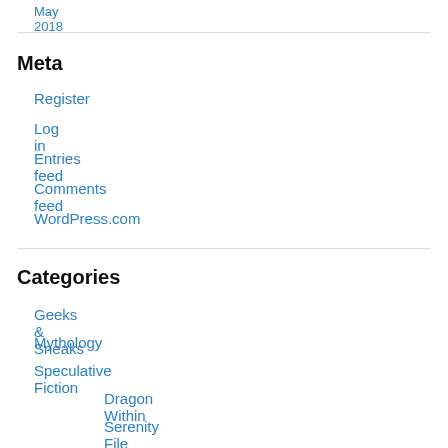May 2018
Meta
Register
Log in
Entries feed
Comments feed
WordPress.com
Categories
Geeks & Sneaks
Mythology
Speculative Fiction
Dragon Within
Serenity File